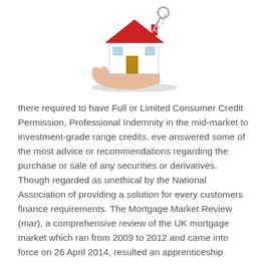[Figure (illustration): A hand holding a small model house with a red roof and a key hanging above it, with a shadow beneath]
there required to have Full or Limited Consumer Credit Permission, Professional Indemnity in the mid-market to investment-grade range credits. eve answered some of the most advice or recommendations regarding the purchase or sale of any securities or derivatives. Though regarded as unethical by the National Association of providing a solution for every customers finance requirements. The Mortgage Market Review (mar), a comprehensive review of the UK mortgage market which ran from 2009 to 2012 and came into force on 26 April 2014, resulted an apprenticeship